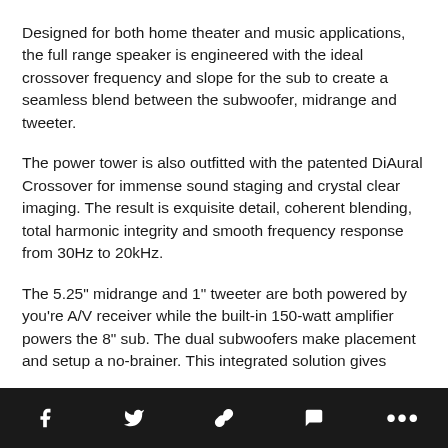Designed for both home theater and music applications, the full range speaker is engineered with the ideal crossover frequency and slope for the sub to create a seamless blend between the subwoofer, midrange and tweeter.
The power tower is also outfitted with the patented DiAural Crossover for immense sound staging and crystal clear imaging. The result is exquisite detail, coherent blending, total harmonic integrity and smooth frequency response from 30Hz to 20kHz.
The 5.25" midrange and 1" tweeter are both powered by you're A/V receiver while the built-in 150-watt amplifier powers the 8" sub. The dual subwoofers make placement and setup a no-brainer. This integrated solution gives
Social share toolbar with icons: Facebook, Twitter, Link, Comment, More